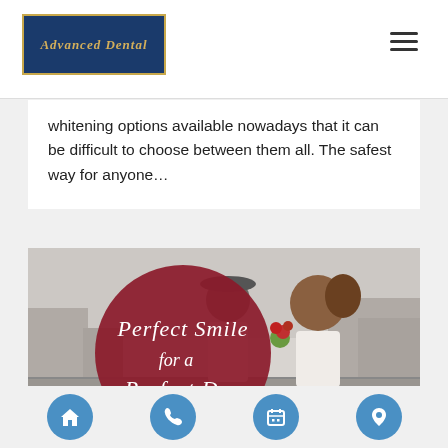Advanced Dental
whitening options available nowadays that it can be difficult to choose between them all. The safest way for anyone…
[Figure (photo): A couple on a rooftop, smiling at each other, holding flowers. A large dark red circle overlay reads 'Perfect Smile for a Perfect Day' in script lettering.]
Navigation icons: home, phone, calendar, location